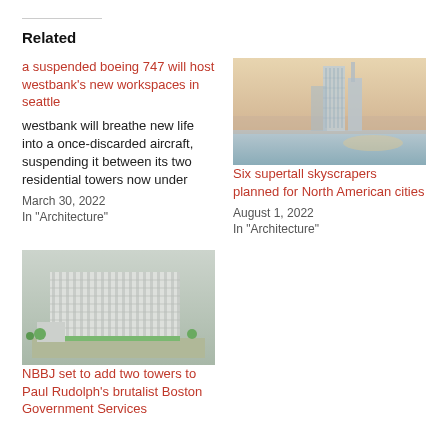Related
a suspended boeing 747 will host westbank's new workspaces in seattle
westbank will breathe new life into a once-discarded aircraft, suspending it between its two residential towers now under
March 30, 2022
In "Architecture"
[Figure (photo): Supertall skyscraper architectural rendering near water at sunset]
Six supertall skyscrapers planned for North American cities
August 1, 2022
In "Architecture"
[Figure (photo): Aerial model/rendering of a large modern building complex with white facade]
NBBJ set to add two towers to Paul Rudolph's brutalist Boston Government Services